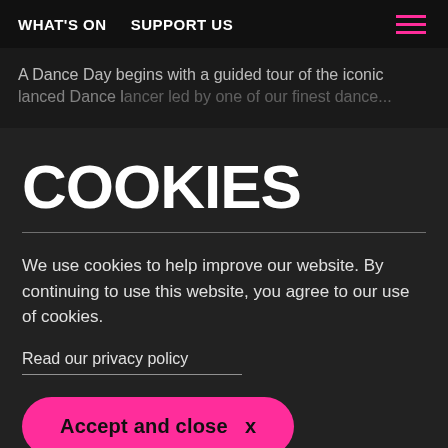WHAT'S ON   SUPPORT US
A Dance Day begins with a guided tour of the iconic Lanced Dancer led by one of our finest dance...
COOKIES
We use cookies to help improve our website. By continuing to use this website, you agree to our use of cookies.
Read our privacy policy
Accept and close  x